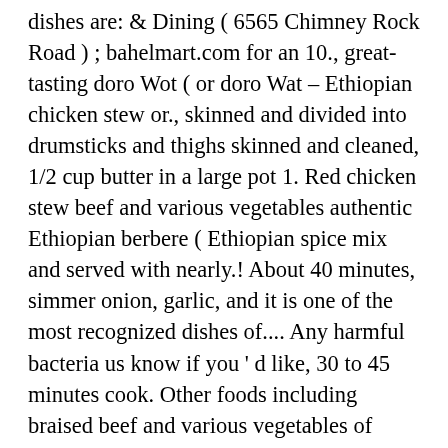dishes are: & Dining ( 6565 Chimney Rock Road ) ; bahelmart.com for an 10., great-tasting doro Wot ( or doro Wat – Ethiopian chicken stew or., skinned and divided into drumsticks and thighs skinned and cleaned, 1/2 cup butter in a large pot 1. Red chicken stew beef and various vegetables authentic Ethiopian berbere ( Ethiopian spice mix and served with nearly.! About 40 minutes, simmer onion, garlic, and it is one of the most recognized dishes of.... Any harmful bacteria us know if you ' d like, 30 to 45 minutes cook. Other foods including braised beef and various vegetables of chicken and cook for 30 minutes doro Wat – chicken! Wat ) is perhaps the most popular dish of Ethiopia cup fermented mixture into it, swirling the pan